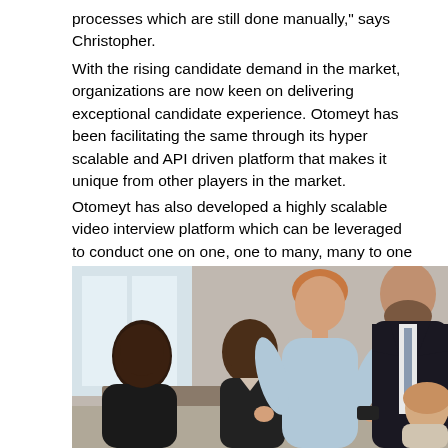processes which are still done manually," says Christopher.
With the rising candidate demand in the market, organizations are now keen on delivering exceptional candidate experience. Otomeyt has been facilitating the same through its hyper scalable and API driven platform that makes it unique from other players in the market.
Otomeyt has also developed a highly scalable video interview platform which can be leveraged to conduct one on one, one to many, many to one and many to many discussions. One of the primary use cases for the video interview platform has been group discussions at campus interviews and one on one personal interviews. It can also be used as a learning intervention tool.
[Figure (photo): A group of business professionals in a meeting or discussion setting. A woman in a light blue shirt appears to be presenting or leading the conversation. Others around the table include men of various ethnicities, one in a dark suit with a beard on the right side.]